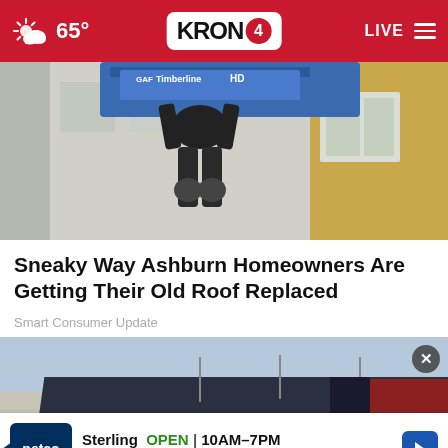65° KRON4 LIVE
[Figure (photo): Roofer carrying GAF Timberline HD shingles on a ladder next to a house]
Sneaky Way Ashburn Homeowners Are Getting Their Old Roof Replaced
Smart Consumer Update
[Figure (photo): Aerial view of a large commercial building with parking lot, overcast sky]
Sterling  OPEN | 10AM–7PM
22000 Dulles Retail Plaza, #110, Ste